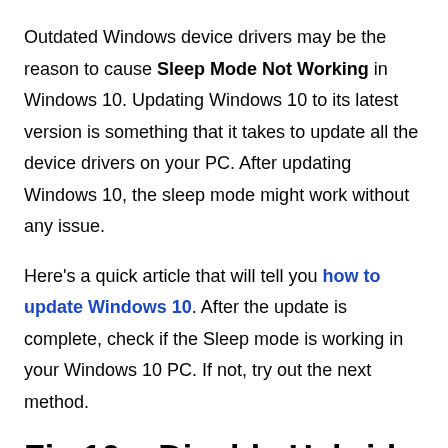Outdated Windows device drivers may be the reason to cause Sleep Mode Not Working in Windows 10. Updating Windows 10 to its latest version is something that it takes to update all the device drivers on your PC. After updating Windows 10, the sleep mode might work without any issue.
Here's a quick article that will tell you how to update Windows 10. After the update is complete, check if the Sleep mode is working in your Windows 10 PC. If not, try out the next method.
Fix 10 – Disable Hybrid